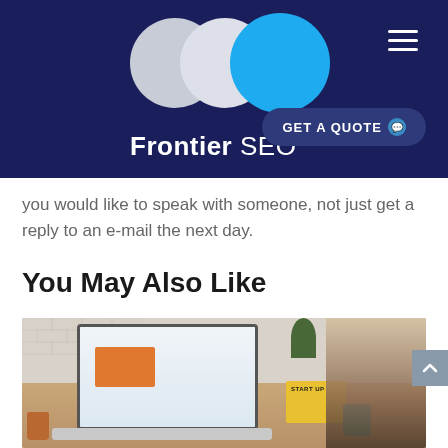Frontier SEO — navigation header with logo and GET A QUOTE button
you would like to speak with someone, not just get a reply to an e-mail the next day.
You May Also Like
[Figure (photo): Person working at a laptop on a wooden desk with books, a mug, and a pen holder; brick wall in background]